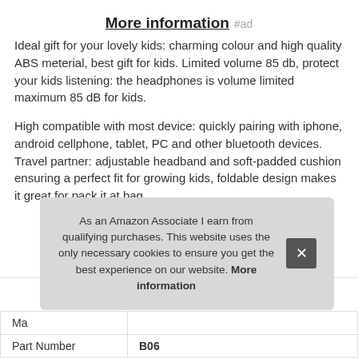More information #ad
Ideal gift for your lovely kids: charming colour and high quality ABS meterial, best gift for kids. Limited volume 85 db, protect your kids listening: the headphones is volume limited maximum 85 dB for kids.
High compatible with most device: quickly pairing with iphone, android cellphone, tablet, PC and other bluetooth devices. Travel partner: adjustable headband and soft-padded cushion ensuring a perfect fit for growing kids, foldable design makes it great for pack it at bag.
As an Amazon Associate I earn from qualifying purchases. This website uses the only necessary cookies to ensure you get the best experience on our website. More information
| Ma |  |
| Part Number | B06 |